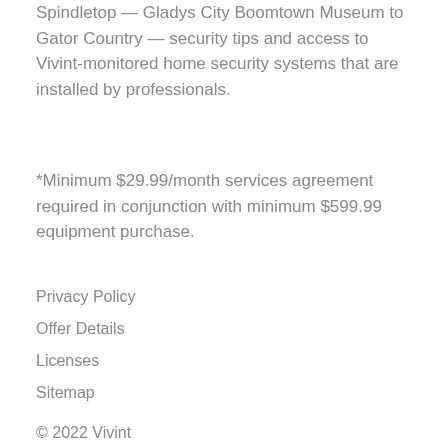Spindletop — Gladys City Boomtown Museum to Gator Country — security tips and access to Vivint-monitored home security systems that are installed by professionals.
*Minimum $29.99/month services agreement required in conjunction with minimum $599.99 equipment purchase.
Privacy Policy
Offer Details
Licenses
Sitemap
© 2022 Vivint